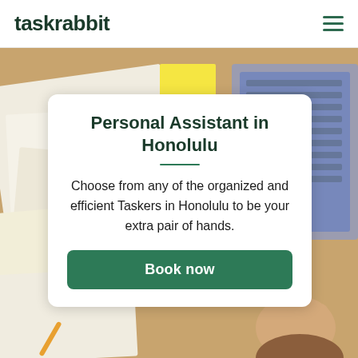taskrabbit
[Figure (photo): Overhead view of a desk with papers, a yellow sticky note, and a laptop keyboard; a person's head and hand are visible at the bottom right]
Personal Assistant in Honolulu
Choose from any of the organized and efficient Taskers in Honolulu to be your extra pair of hands.
Book now